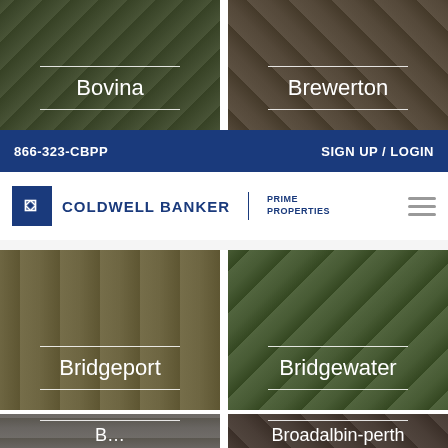[Figure (screenshot): Bovina location card with dark overlay on house/garden photo]
[Figure (screenshot): Brewerton location card with dark overlay on patio photo]
866-323-CBPP    SIGN UP / LOGIN
[Figure (logo): Coldwell Banker Prime Properties logo with CB icon]
[Figure (screenshot): Bridgeport location card with dark overlay on house photo]
[Figure (screenshot): Bridgewater location card with dark overlay on garden photo]
[Figure (screenshot): Broadalbin location card with dark overlay on house interior photo]
[Figure (screenshot): Broadalbin-perth location card with dark overlay on building exterior photo]